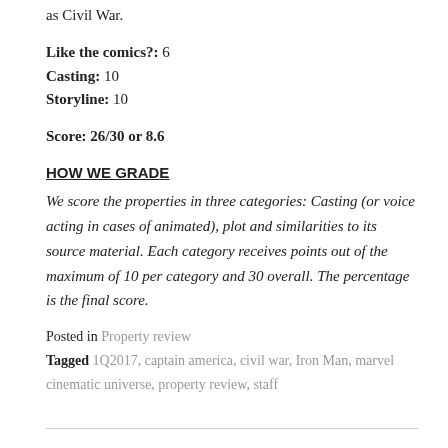as Civil War.
Like the comics?: 6
Casting: 10
Storyline: 10
Score: 26/30 or 8.6
HOW WE GRADE
We score the properties in three categories: Casting (or voice acting in cases of animated), plot and similarities to its source material. Each category receives points out of the maximum of 10 per category and 30 overall. The percentage is the final score.
Posted in Property review
Tagged 1Q2017, captain america, civil war, Iron Man, marvel cinematic universe, property review, staff